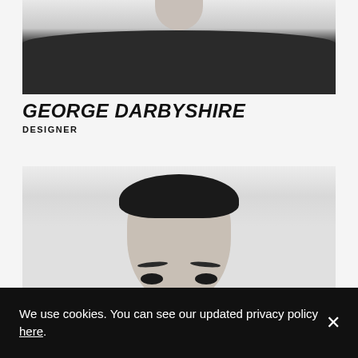[Figure (photo): Black and white cropped photo showing the lower neck and torso of a person wearing a dark crewneck t-shirt, head/face not visible]
GEORGE DARBYSHIRE
DESIGNER
[Figure (photo): Black and white photo showing the top half of a young man's face from the forehead to the eyes, with dark hair]
We use cookies. You can see our updated privacy policy here.